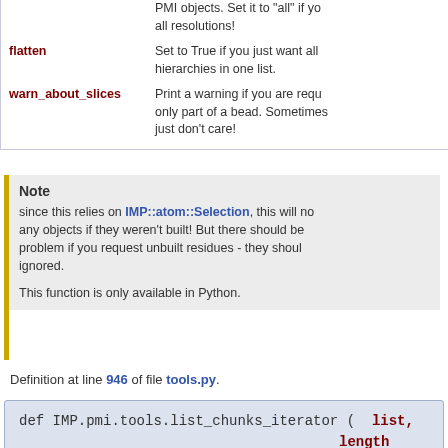| Parameter | Description |
| --- | --- |
|  | PMI objects. Set it to "all" if yo... all resolutions! |
| flatten | Set to True if you just want all hierarchies in one list. |
| warn_about_slices | Print a warning if you are requ... only part of a bead. Sometimes just don't care! |
Note
since this relies on IMP::atom::Selection, this will no... any objects if they weren't built! But there should be... problem if you request unbuilt residues - they shoul... ignored.
This function is only available in Python.
Definition at line 946 of file tools.py.
def IMP.pmi.tools.list_chunks_iterator ( list, length )
Yields successive length-sized chunks from a list...